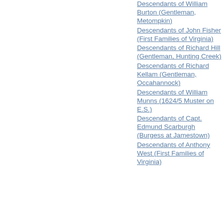Descendants of William Burton (Gentleman, Metompkin)
Descendants of John Fisher (First Families of Virginia)
Descendants of Richard Hill (Gentleman, Hunting Creek)
Descendants of Richard Kellam (Gentleman, Occahannock)
Descendants of William Munns (1624/5 Muster on E.S.)
Descendants of Capt. Edmund Scarburgh (Burgess at Jamestown)
Descendants of Anthony West (First Families of Virginia)